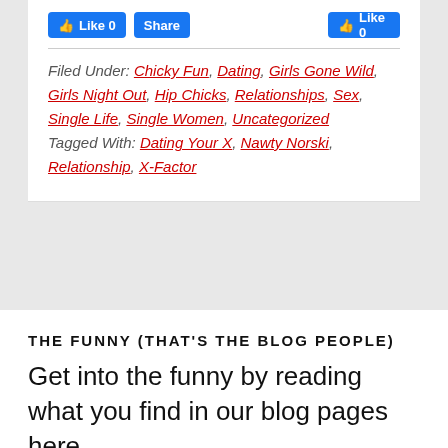[Figure (screenshot): Facebook Like 0 and Share buttons row]
Filed Under: Chicky Fun, Dating, Girls Gone Wild, Girls Night Out, Hip Chicks, Relationships, Sex, Single Life, Single Women, Uncategorized
Tagged With: Dating Your X, Nawty Norski, Relationship, X-Factor
THE FUNNY (THAT'S THE BLOG PEOPLE)
Get into the funny by reading what you find in our blog pages here